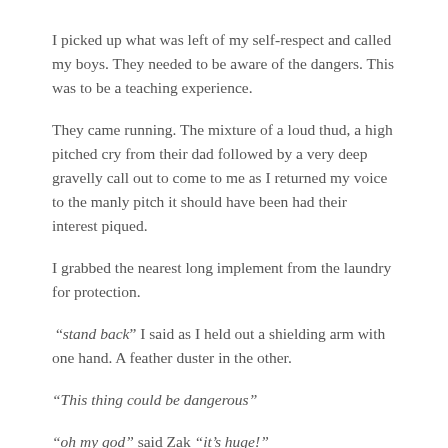I picked up what was left of my self-respect and called my boys. They needed to be aware of the dangers. This was to be a teaching experience.
They came running. The mixture of a loud thud, a high pitched cry from their dad followed by a very deep gravelly call out to come to me as I returned my voice to the manly pitch it should have been had their interest piqued.
I grabbed the nearest long implement from the laundry for protection.
“stand back” I said as I held out a shielding arm with one hand. A feather duster in the other.
“This thing could be dangerous”
“oh my god” said Zak “it’s huge!”